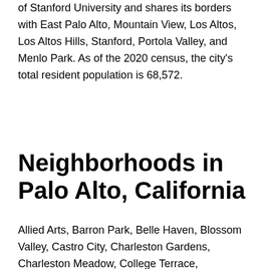of Stanford University and shares its borders with East Palo Alto, Mountain View, Los Altos, Los Altos Hills, Stanford, Portola Valley, and Menlo Park. As of the 2020 census, the city's total resident population is 68,572.
Neighborhoods in Palo Alto, California
Allied Arts, Barron Park, Belle Haven, Blossom Valley, Castro City, Charleston Gardens, Charleston Meadow, College Terrace, Community Center, Country Club, Crescent